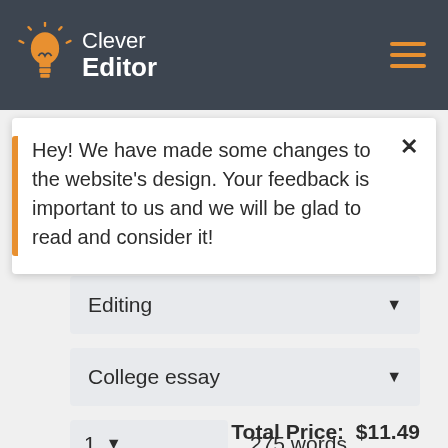Clever Editor
Hey! We have made some changes to the website's design. Your feedback is important to us and we will be glad to read and consider it!
Editing
College essay
1  275 words
Total Price:  $11.49